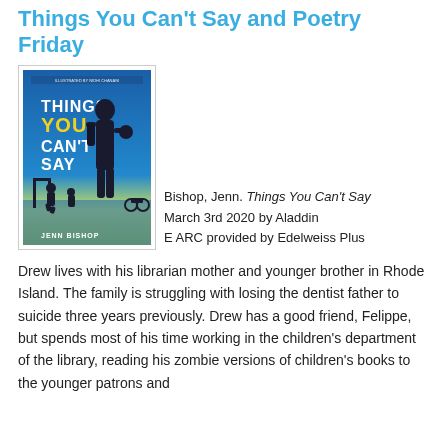Things You Can't Say and Poetry Friday
[Figure (illustration): Book cover of 'Things You Can't Say' by Jenn Bishop. Shows a silhouette of a child standing with a backpack against a blue and yellow background with smaller figures playing in the background.]
Bishop, Jenn. Things You Can't Say March 3rd 2020 by Aladdin E ARC provided by Edelweiss Plus
Drew lives with his librarian mother and younger brother in Rhode Island. The family is struggling with losing the dentist father to suicide three years previously. Drew has a good friend, Felippe, but spends most of his time working in the children's department of the library, reading his zombie versions of children's books to the younger patrons and